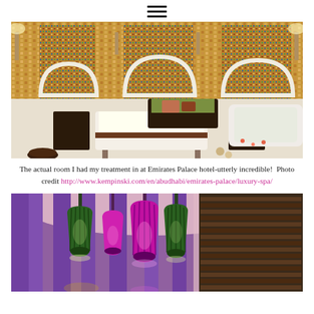≡
[Figure (photo): Luxury spa treatment room at Emirates Palace hotel with ornate Moroccan mosaic walls, massage table with white linens and brown accent, a flower-covered daybed, and a white marble soaking bathtub with rose petals and candles.]
The actual room I had my treatment in at Emirates Palace hotel-utterly incredible!  Photo credit http://www.kempinski.com/en/abudhabi/emirates-palace/luxury-spa/
[Figure (photo): Interior of a luxury spa or lounge with hanging decorative pendant lanterns in green and purple/magenta tones, pink ceiling, purple draped curtains, and wooden blinds on the right.]